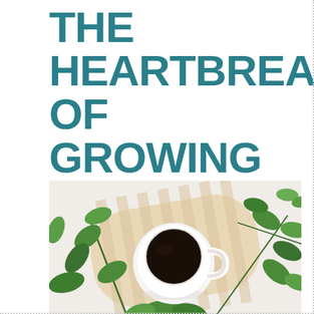THE HEARTBREAK OF GROWING KIDS
[Figure (photo): Top-down photo of a white coffee cup filled with black coffee, surrounded by green leafy plant branches laid on a wooden striped cutting board on a light background.]